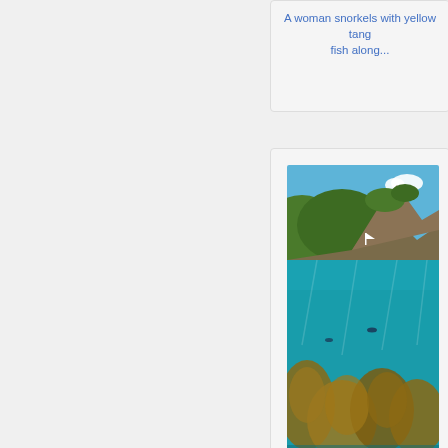A woman snorkels with yellow tang fish along...
[Figure (photo): Underwater/above-water split view of a coral reef and green hillside in Hawaii, turquoise water with coral formations visible]
TJ4815_441A8418.jpg
A woman snorkels with tropical fish along the...
[Figure (photo): Underwater/above-water split view showing a snorkeler swimming near coral reef with green hillside and blue sky above]